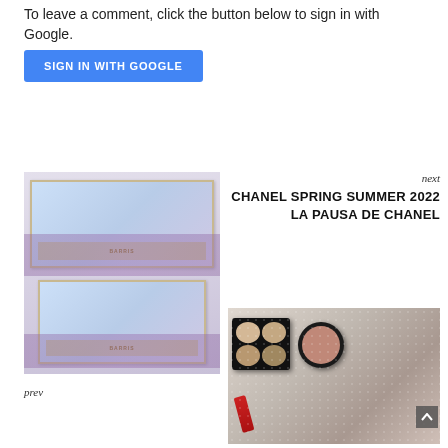To leave a comment, click the button below to sign in with Google.
[Figure (other): Blue 'SIGN IN WITH GOOGLE' button]
[Figure (photo): Two Bridgerton x Barris makeup palettes with blue satin bow design and purple roses]
prev
next
CHANEL SPRING SUMMER 2022 LA PAUSA DE CHANEL
[Figure (photo): Chanel makeup products including a quad eyeshadow palette and blush compact with lipstick on a pearl background]